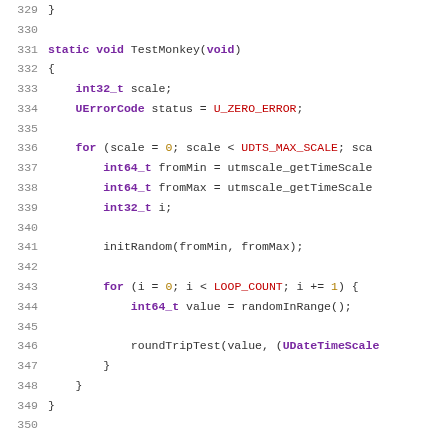Code listing lines 329–350, C function TestMonkey
329    }
330
331    static void TestMonkey(void)
332    {
333        int32_t scale;
334        UErrorCode status = U_ZERO_ERROR;
335
336        for (scale = 0; scale < UDTS_MAX_SCALE; sca
337            int64_t fromMin = utmscale_getTimeScale
338            int64_t fromMax = utmscale_getTimeScale
339            int32_t i;
340
341            initRandom(fromMin, fromMax);
342
343            for (i = 0; i < LOOP_COUNT; i += 1) {
344                int64_t value = randomInRange();
345
346                roundTripTest(value, (UDateTimeScale
347            }
348        }
349    }
350